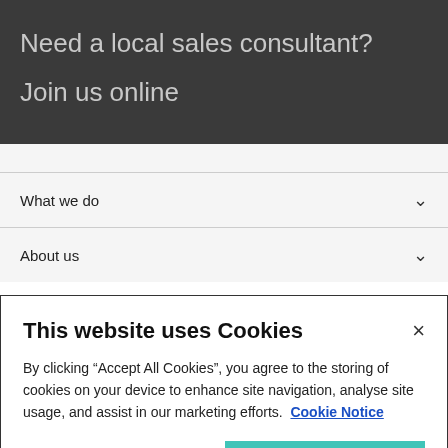Need a local sales consultant?
Join us online
What we do
About us
This website uses Cookies
By clicking “Accept All Cookies”, you agree to the storing of cookies on your device to enhance site navigation, analyse site usage, and assist in our marketing efforts.  Cookie Notice
Cookie Settings
Accept All Cookies